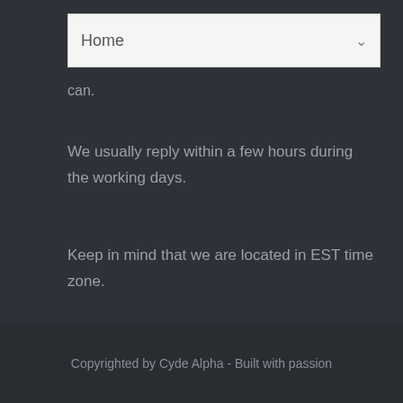Home
can.
We usually reply within a few hours during the working days.
Keep in mind that we are located in EST time zone.
Copyrighted by Cyde Alpha - Built with passion